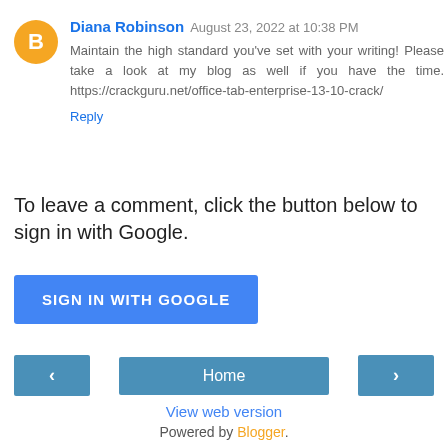Diana Robinson August 23, 2022 at 10:38 PM
Maintain the high standard you've set with your writing! Please take a look at my blog as well if you have the time. https://crackguru.net/office-tab-enterprise-13-10-crack/
Reply
To leave a comment, click the button below to sign in with Google.
SIGN IN WITH GOOGLE
Home
View web version
Powered by Blogger.